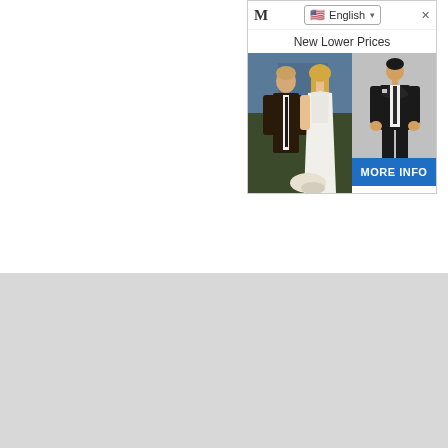[Figure (screenshot): Advertisement banner showing a language selector dropdown with English/flag selected, subtitle 'New Lower Prices', two photos: left shows a couple (man in dark suit and woman in white dress) at a wedding, right shows a man in a dark suit with a blue 'MORE INFO' button below.]